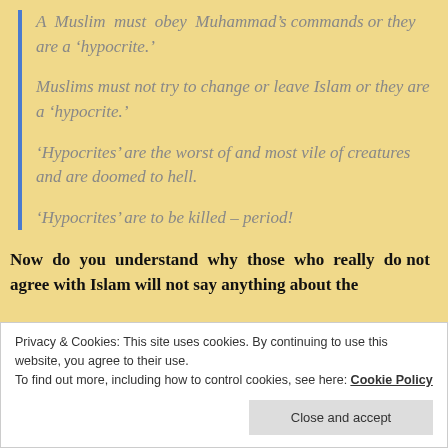A Muslim must obey Muhammad’s commands or they are a ‘hypocrite.’
Muslims must not try to change or leave Islam or they are a ‘hypocrite.’
‘Hypocrites’ are the worst of and most vile of creatures and are doomed to hell.
‘Hypocrites’ are to be killed – period!
Now do you understand why those who really do not agree with Islam will not say anything about the
Privacy & Cookies: This site uses cookies. By continuing to use this website, you agree to their use.
To find out more, including how to control cookies, see here: Cookie Policy